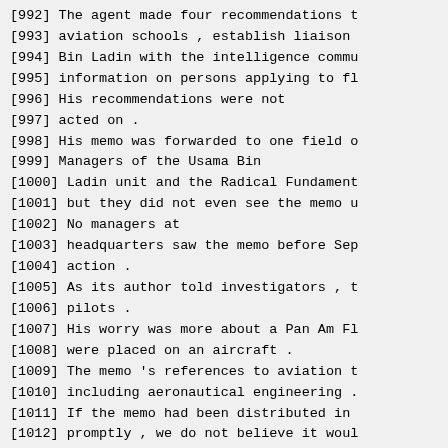[992] The agent made four recommendations t
[993] aviation schools , establish liaison
[994] Bin Ladin with the intelligence commu
[995] information on persons applying to fl
[996] His recommendations were not
[997] acted on .
[998] His memo was forwarded to one field o
[999] Managers of the Usama Bin
[1000] Ladin unit and the Radical Fundament
[1001] but they did not even see the memo u
[1002] No managers at
[1003] headquarters saw the memo before Sep
[1004] action .
[1005] As its author told investigators , t
[1006] pilots .
[1007] His worry was more about a Pan Am Fl
[1008] were placed on an aircraft .
[1009] The memo 's references to aviation t
[1010] including aeronautical engineering .
[1011] If the memo had been distributed in
[1012] promptly , we do not believe it woul